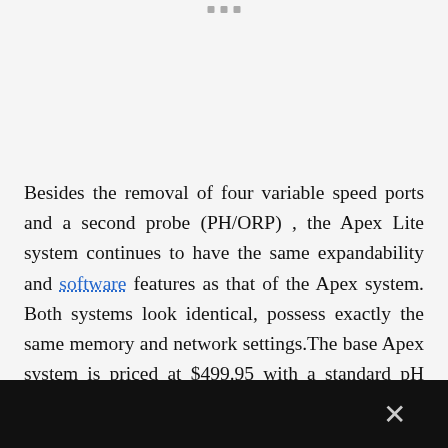Besides the removal of four variable speed ports and a second probe (PH/ORP) , the Apex Lite system continues to have the same expandability and software features as that of the Apex system. Both systems look identical, possess exactly the same memory and network settings.The base Apex system is priced at $499.95 with a standard pH probe included. The Apex Lite system is available on ... pH